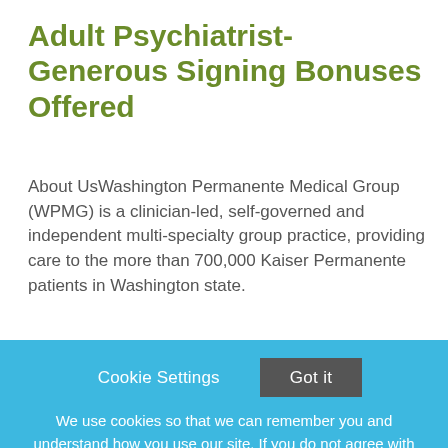Adult Psychiatrist-Generous Signing Bonuses Offered
About UsWashington Permanente Medical Group (WPMG) is a clinician-led, self-governed and independent multi-specialty group practice, providing care to the more than 700,000 Kaiser Permanente patients in Washington state.
This job listing is no longer active.
Cookie Settings
Got it
We use cookies so that we can remember you and understand how you use our site. If you do not agree with our use of cookies, please change the current settings found in our Cookie Policy. Otherwise, you agree to the use of the cookies as they are currently set.